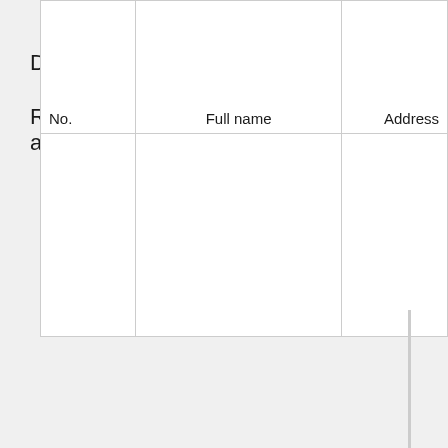| No. | Full name | Address |
| --- | --- | --- |
|  |  |  |
Date
Registrar